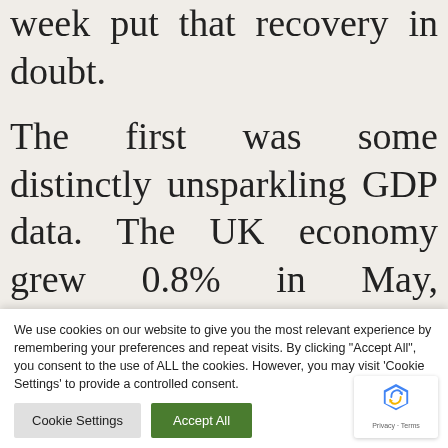week put that recovery in doubt.
The first was some distinctly unsparkling GDP data. The UK economy grew 0.8% in May, significantly below consensus expectations of 1.5% growth and much slower than the 2% growth
We use cookies on our website to give you the most relevant experience by remembering your preferences and repeat visits. By clicking "Accept All", you consent to the use of ALL the cookies. However, you may visit 'Cookie Settings' to provide a controlled consent.